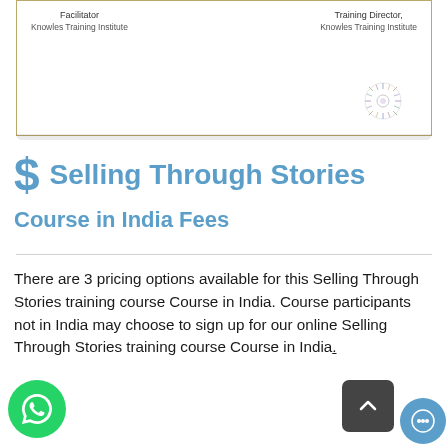[Figure (illustration): Partial view of a certificate with two columns of text: 'Facilitator, Knowles Training Institute' and 'Training Director, Knowles Training Institute', with a decorative seal in the bottom right corner.]
$ Selling Through Stories Course in India Fees
There are 3 pricing options available for this Selling Through Stories training course Course in India. Course participants not in India may choose to sign up for our online Selling Through Stories training course Course in India.